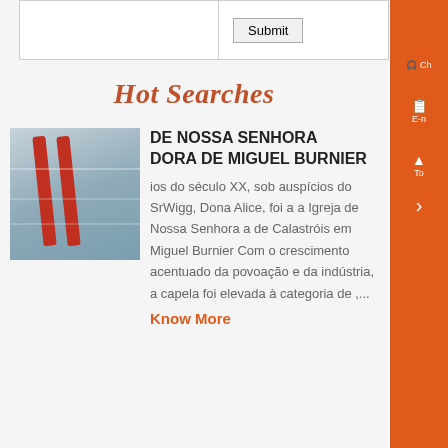|  | Submit |
Hot Searches
[Figure (photo): Industrial machinery or equipment photo, showing metal components with red and white cables/tubes]
DE NOSSA SENHORA DORA DE MIGUEL BURNIER
ios do século XX, sob auspícios do SrWigg, Dona Alice, foi a a Igreja de Nossa Senhora a de Calastróis em Miguel Burnier Com o crescimento acentuado da povoação e da indústria, a capela foi elevada à categoria de ,...
Know More